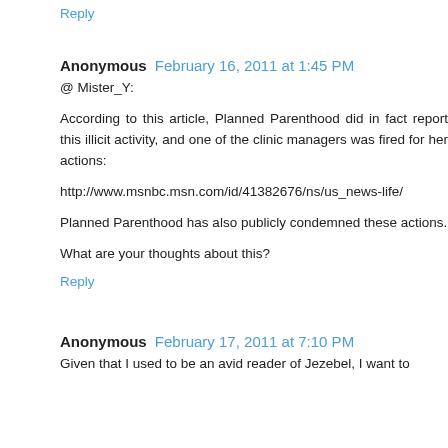Reply
Anonymous  February 16, 2011 at 1:45 PM
@ Mister_Y:
According to this article, Planned Parenthood did in fact report this illicit activity, and one of the clinic managers was fired for her actions:
http://www.msnbc.msn.com/id/41382676/ns/us_news-life/
Planned Parenthood has also publicly condemned these actions.
What are your thoughts about this?
Reply
Anonymous  February 17, 2011 at 7:10 PM
Given that I used to be an avid reader of Jezebel, I want to